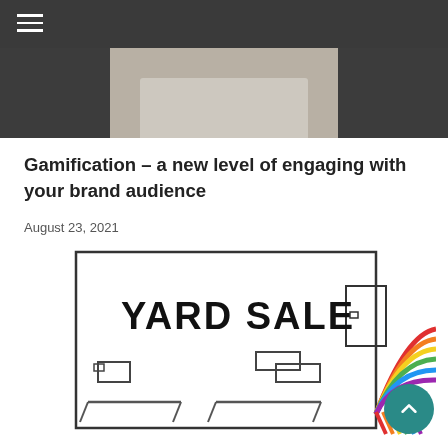[Figure (photo): Dark navigation bar with hamburger menu icon, and a hero photo strip showing a person in a blazer/suit torso area]
Gamification – a new level of engaging with your brand audience
August 23, 2021
[Figure (illustration): A hand-drawn style illustration of a yard sale scene. A sign reads 'YARD SALE' in large hand-drawn letters. There are small rectangular shapes representing items on tables, and a colorful rainbow with colored pencils/crayons appearing in the right portion of the image.]